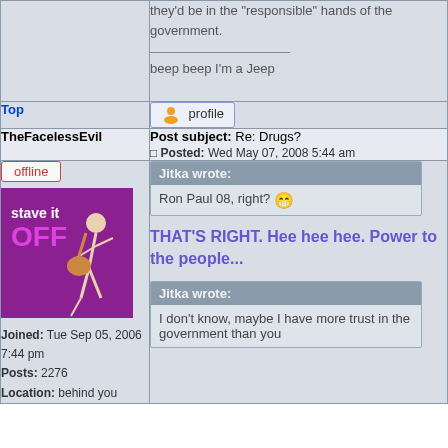they'd be in the "responsible" hands of the government.
beep beep I'm a Jeep
Top
[Figure (other): Profile button with user icon]
TheFacelessEvil
Post subject: Re: Drugs? Posted: Wed May 07, 2008 5:44 am
[Figure (photo): Avatar: purple background with guitar player and text 'stave it OFF']
offline
Joined: Tue Sep 05, 2006 7:44 pm
Posts: 2276
Location: behind you
Jitka wrote:
Ron Paul 08, right?
THAT'S RIGHT. Hee hee hee. Power to the people...
Jitka wrote:
I don't know, maybe I have more trust in the government than you